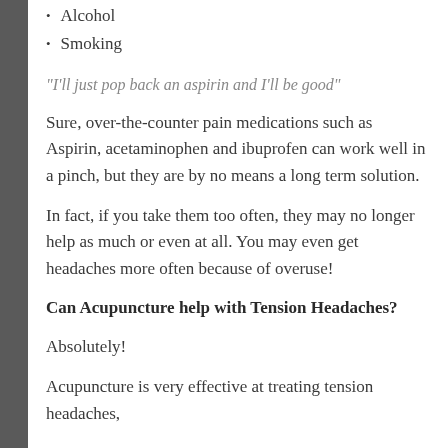Alcohol
Smoking
“I’ll just pop back an aspirin and I’ll be good”
Sure, over-the-counter pain medications such as Aspirin, acetaminophen and ibuprofen can work well in a pinch, but they are by no means a long term solution.
In fact, if you take them too often, they may no longer help as much or even at all. You may even get headaches more often because of overuse!
Can Acupuncture help with Tension Headaches?
Absolutely!
Acupuncture is very effective at treating tension headaches,